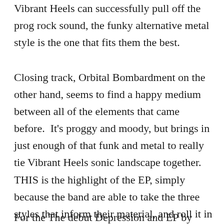Vibrant Heels can successfully pull off the prog rock sound, the funky alternative metal style is the one that fits them the best.
Closing track, Orbital Bombardment on the other hand, seems to find a happy medium between all of the elements that came before.  It's proggy and moody, but brings in just enough of that funk and metal to really tie Vibrant Heels sonic landscape together.  THIS is the highlight of the EP, simply because the band are able to take the three styles that inform their material, and roll it in to one cohesive ball.
For the The debut Depression and EP by Vibrant Heels...